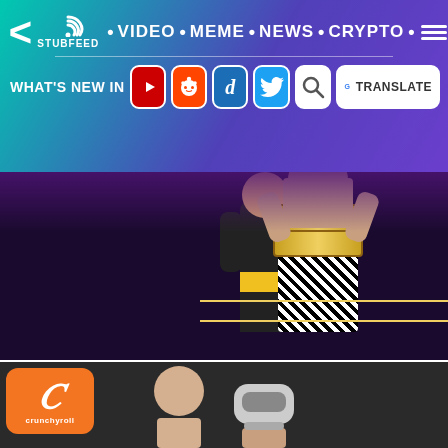StubFeed · VIDEO · MEME · NEWS · CRYPTO
WHAT'S NEW IN [YouTube] [Reddit] [Digg] [Twitter] [Search] [G TRANSLATE]
[Figure (photo): Two wrestlers in a wrestling ring, one in black and yellow outfit, another holding championship belts in zebra print pants]
Aug 26th • Eddie Kingston Roasts Former
[Figure (photo): Crunchyroll logo badge in orange, and a 3D avatar resembling Mark Zuckerberg wearing a VR headset on dark background]